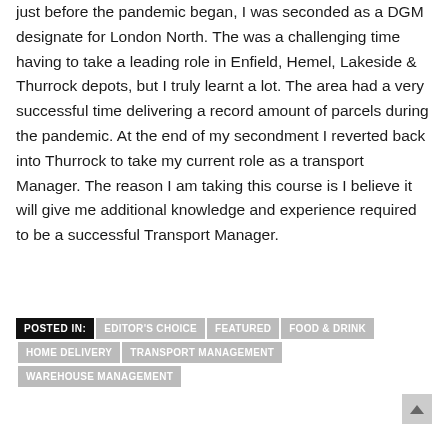just before the pandemic began, I was seconded as a DGM designate for London North. The was a challenging time having to take a leading role in Enfield, Hemel, Lakeside & Thurrock depots, but I truly learnt a lot. The area had a very successful time delivering a record amount of parcels during the pandemic. At the end of my secondment I reverted back into Thurrock to take my current role as a transport Manager. The reason I am taking this course is I believe it will give me additional knowledge and experience required to be a successful Transport Manager.
POSTED IN: EDITOR'S CHOICE  FEATURED  FOOD & DRINK  HOME DELIVERY  TRANSPORT MANAGEMENT  WAREHOUSE MANAGEMENT